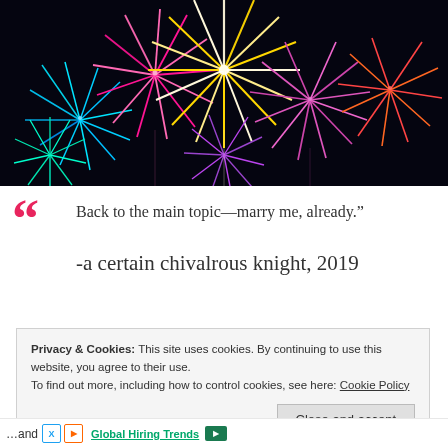[Figure (photo): Colorful fireworks display against a black night sky, featuring blue, pink, purple, gold, and white fireworks bursting in multiple directions.]
“ Back to the main topic—marry me, already.”
-a certain chivalrous knight, 2019
Privacy & Cookies: This site uses cookies. By continuing to use this website, you agree to their use.
To find out more, including how to control cookies, see here: Cookie Policy
Close and accept
…and  Global Hiring Trends